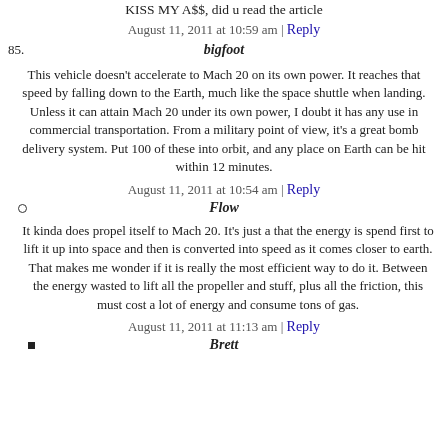KISS MY A$$, did u read the article
August 11, 2011 at 10:59 am | Reply
85. bigfoot
This vehicle doesn't accelerate to Mach 20 on its own power. It reaches that speed by falling down to the Earth, much like the space shuttle when landing. Unless it can attain Mach 20 under its own power, I doubt it has any use in commercial transportation. From a military point of view, it's a great bomb delivery system. Put 100 of these into orbit, and any place on Earth can be hit within 12 minutes.
August 11, 2011 at 10:54 am | Reply
Flow
It kinda does propel itself to Mach 20. It's just a that the energy is spend first to lift it up into space and then is converted into speed as it comes closer to earth. That makes me wonder if it is really the most efficient way to do it. Between the energy wasted to lift all the propeller and stuff, plus all the friction, this must cost a lot of energy and consume tons of gas.
August 11, 2011 at 11:13 am | Reply
Brett